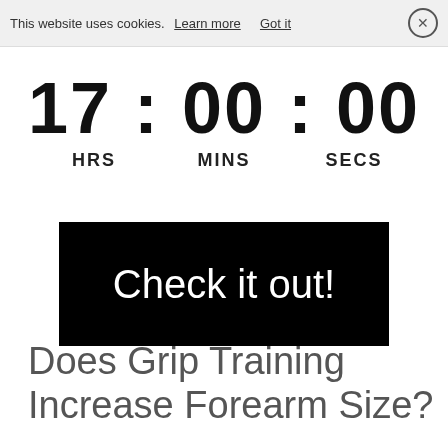This website uses cookies. Learn more  Got it  ×
17 : 00 : 00
HRS  MINS  SECS
[Figure (other): Black button/banner with white text reading 'Check it out!']
Does Grip Training Increase Forearm Size?